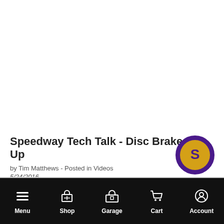Speedway Tech Talk - Disc Brake Set Up
by Tim Matthews - Posted in Videos
5/24/2016
We get a lot of questions about brake kits so Tim gives a brief overview of disc brake setups.
[Figure (logo): Speedway Motors circular logo with golden S emblem on purple background]
Menu  Shop  Garage  Cart  Account